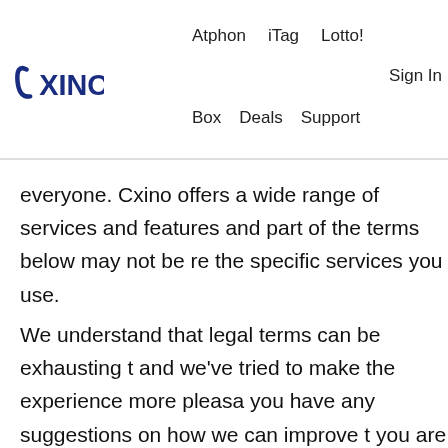Atphon  iTag  Lotto!  Box  Deals  Support  Sign In
everyone. Cxino offers a wide range of services and features and part of the terms below may not be re the specific services you use.
We understand that legal terms can be exhausting t and we've tried to make the experience more pleasa you have any suggestions on how we can improve t you are more than welcome to contact us.